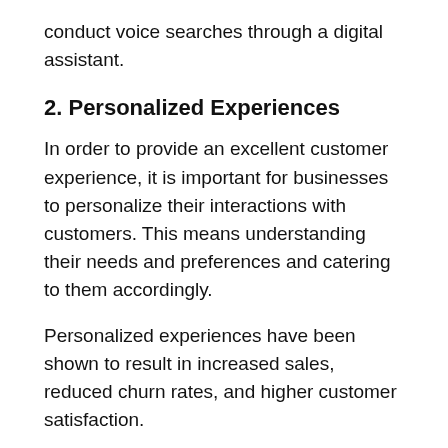conduct voice searches through a digital assistant.
2. Personalized Experiences
In order to provide an excellent customer experience, it is important for businesses to personalize their interactions with customers. This means understanding their needs and preferences and catering to them accordingly.
Personalized experiences have been shown to result in increased sales, reduced churn rates, and higher customer satisfaction.
In 2022, there will be a huge focus on personalization in order to increase engagement with customers. This could include recommendations based on previous purchases or events that are trending in